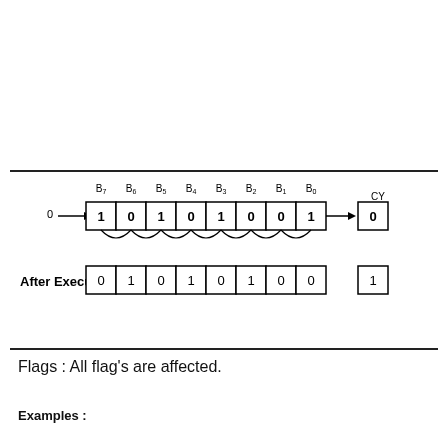[Figure (schematic): 8-bit register shift diagram showing bits B7 through B0 with values 1,0,1,0,1,0,0,1 before execution and 0,1,0,1,0,1,0,0 after execution, with carry CY showing 0 before and 1 after. Arrows indicate right-rotation with 0 input on the left.]
Flags : All flag's are affected.
Examples :